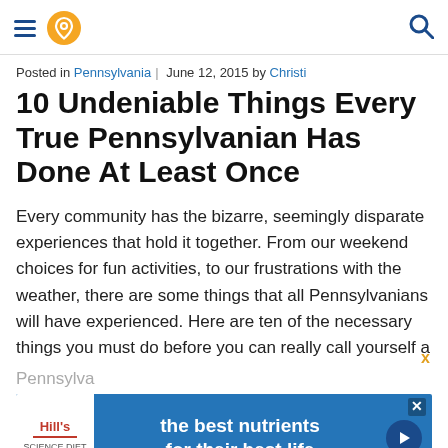Navigation header with hamburger menu, location pin icon, and search icon
Posted in Pennsylvania | June 12, 2015 by Christi
10 Undeniable Things Every True Pennsylvanian Has Done At Least Once
Every community has the bizarre, seemingly disparate experiences that hold it together. From our weekend choices for fun activities, to our frustrations with the weather, there are some things that all Pennsylvanians will have experienced. Here are ten of the necessary things you must do before you can really call yourself a Pennsylvanian.
[Figure (other): Hill's pet food advertisement banner: 'the best nutrients for their best life' with Hill's logo on blue background]